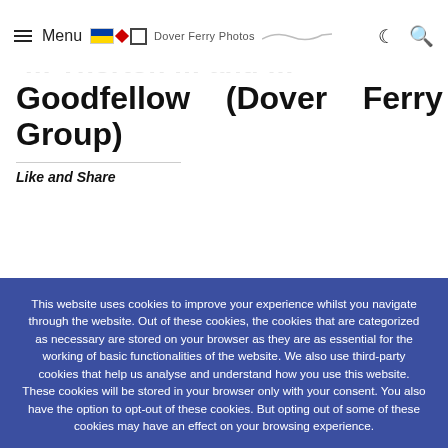Menu | Dover Ferry Photos
Goodfellow (Dover Ferry Photos Group)
Like and Share
This website uses cookies to improve your experience whilst you navigate through the website. Out of these cookies, the cookies that are categorized as necessary are stored on your browser as they are as essential for the working of basic functionalities of the website. We also use third-party cookies that help us analyse and understand how you use this website. These cookies will be stored in your browser only with your consent. You also have the option to opt-out of these cookies. But opting out of some of these cookies may have an effect on your browsing experience.
Accept All | Reject | Cookie settings | Read More